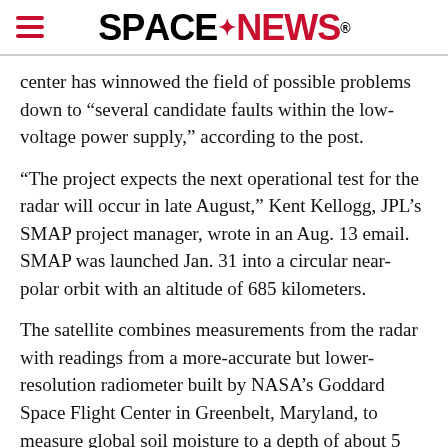SPACENEWS
center has winnowed the field of possible problems down to “several candidate faults within the low-voltage power supply,” according to the post.
“The project expects the next operational test for the radar will occur in late August,” Kent Kellogg, JPL’s SMAP project manager, wrote in an Aug. 13 email. SMAP was launched Jan. 31 into a circular near-polar orbit with an altitude of 685 kilometers.
The satellite combines measurements from the radar with readings from a more-accurate but lower-resolution radiometer built by NASA’s Goddard Space Flight Center in Greenbelt, Maryland, to measure global soil moisture to a depth of about 5 centimeters. SMAP